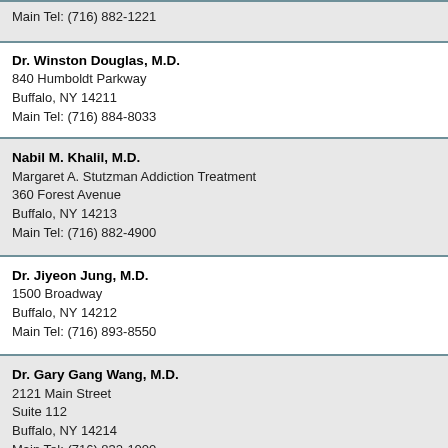Main Tel: (716) 882-1221
Dr. Winston Douglas, M.D.
840 Humboldt Parkway
Buffalo, NY 14211
Main Tel: (716) 884-8033
Nabil M. Khalil, M.D.
Margaret A. Stutzman Addiction Treatment
360 Forest Avenue
Buffalo, NY 14213
Main Tel: (716) 882-4900
Dr. Jiyeon Jung, M.D.
1500 Broadway
Buffalo, NY 14212
Main Tel: (716) 893-8550
Dr. Gary Gang Wang, M.D.
2121 Main Street
Suite 112
Buffalo, NY 14214
Main Tel: (716) 832-1000